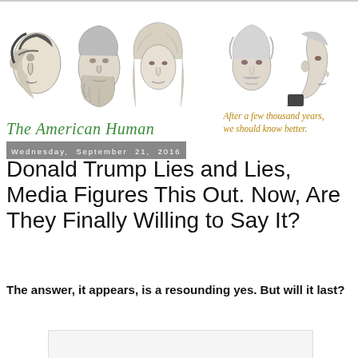[Figure (illustration): Website banner for 'The American Human' showing five sketched portrait illustrations of historical figures (early human, Aristotle, Newton, Einstein, and another figure) arranged in a row, with the site name in green italic serif font below on the left, and a gold italic tagline 'After a few thousand years, we should know better.' on the right.]
Wednesday, September 21, 2016
Donald Trump Lies and Lies, Media Figures This Out. Now, Are They Finally Willing to Say It?
The answer, it appears, is a resounding yes. But will it last?